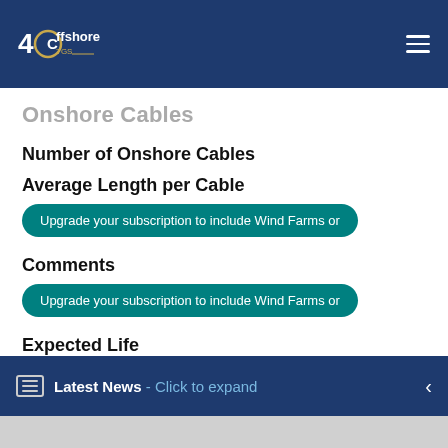4C Offshore TGS - Navigation bar
Onshore Cables
Number of Onshore Cables
Average Length per Cable
Upgrade your subscription to include Wind Farms or
Comments
Upgrade your subscription to include Wind Farms or
Expected Life
Upgrade your subscription to include Wind Farms
Latest News - Click to expand